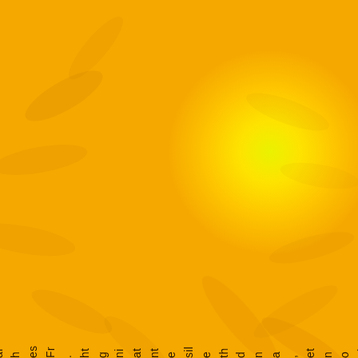[Figure (illustration): Golden orange background with sunflower petals silhouette and bright yellow-green radial glow on the right side. Vertical text runs down the center reading: 'with mosquito net, and the silent at night. Fresh air and']
with mosquito net, and the silent at night. Fresh air and